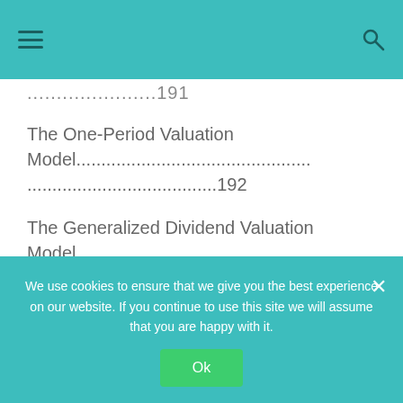Navigation header with hamburger menu and search icon
....................191
The One-Period Valuation Model.............................................................192
The Generalized Dividend Valuation Model.............................................................193
The Gordon Growth
We use cookies to ensure that we give you the best experience on our website. If you continue to use this site we will assume that you are happy with it.